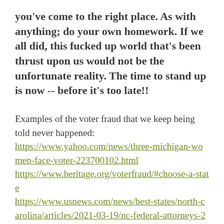you've come to the right place. As with anything; do your own homework. If we all did, this fucked up world that's been thrust upon us would not be the unfortunate reality. The time to stand up is now -- before it's too late!!
Examples of the voter fraud that we keep being told never happened:
https://www.yahoo.com/news/three-michigan-women-face-voter-223700102.html https://www.heritage.org/voterfraud/#choose-a-state https://www.usnews.com/news/best-states/north-carolina/articles/2021-03-19/nc-federal-attorneys-24-more-charged-in-voter-fraud-probe https://jjr.com/former-south-philly-judge